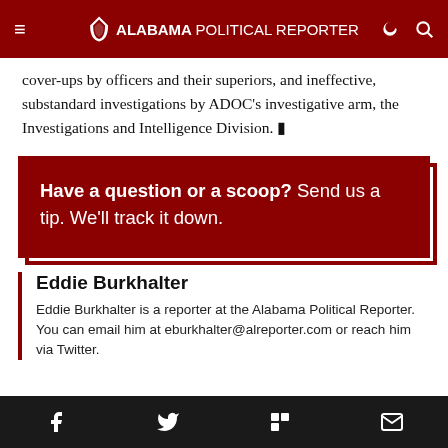Alabama Political Reporter
cover-ups by officers and their superiors, and ineffective, substandard investigations by ADOC's investigative arm, the Investigations and Intelligence Division.
Have a question or a scoop? Send us a tip. We'll track it down.
Eddie Burkhalter
Eddie Burkhalter is a reporter at the Alabama Political Reporter. You can email him at eburkhalter@alreporter.com or reach him via Twitter.
Share icons: Facebook, Twitter, Flipboard, Email